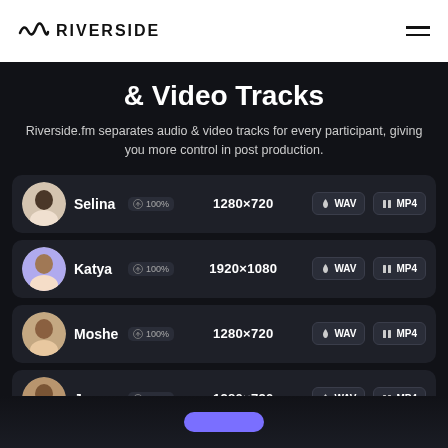RIVERSIDE
& Video Tracks
Riverside.fm separates audio & video tracks for every participant, giving you more control in post production.
Selina  100%  1280×720  WAV  MP4
Katya  100%  1920×1080  WAV  MP4
Moshe  100%  1280×720  WAV  MP4
James  100%  1280×720  WAV  MP4